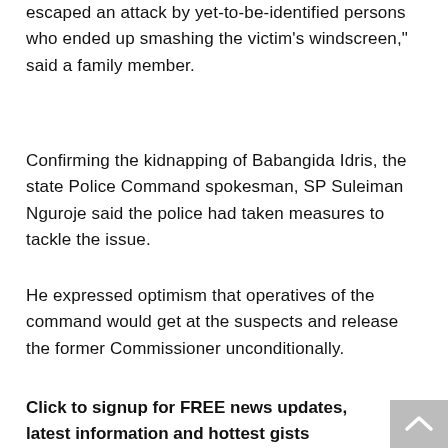escaped an attack by yet-to-be-identified persons who ended up smashing the victim's windscreen," said a family member.
Confirming the kidnapping of Babangida Idris, the state Police Command spokesman, SP Suleiman Nguroje said the police had taken measures to tackle the issue.
He expressed optimism that operatives of the command would get at the suspects and release the former Commissioner unconditionally.
Click to signup for FREE news updates, latest information and hottest gists everyday